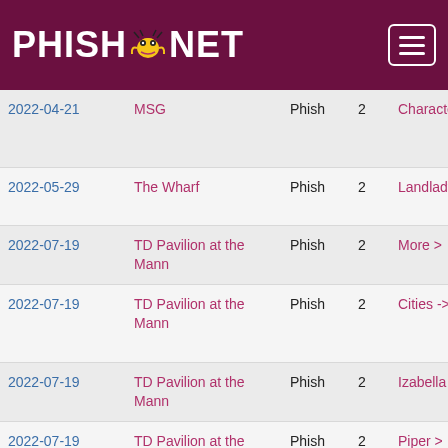PHISH.NET
| Date | Venue | Band | Set | Song | Next |
| --- | --- | --- | --- | --- | --- |
| 2022-04-21 | MSG | Phish | 2 | Character Zero -> | Ze... |
| 2022-05-29 | The Wharf | Phish | 2 | Landlady | > P... |
| 2022-07-19 | TD Pavilion at the Mann | Phish | 2 | More > | ->... |
| 2022-07-19 | TD Pavilion at the Mann | Phish | 2 | Cities -> | -> Th... |
| 2022-07-19 | TD Pavilion at the Mann | Phish | 2 | Izabella > | > M... |
| 2022-07-19 | TD Pavilion at the Mann | Phish | 2 | Piper > | > 2... |
| 2022-07-31 | Merriweather | Phish | 2 | Halley's > | > W... |
| 2022-07-31 | Merriweather | Phish | 2 | Wingsuit > | > B... |